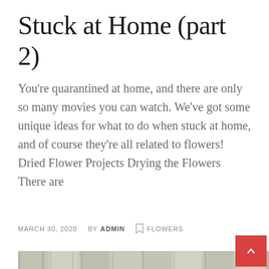Stuck at Home (part 2)
You're quarantined at home, and there are only so many movies you can watch. We've got some unique ideas for what to do when stuck at home, and of course they're all related to flowers! Dried Flower Projects Drying the Flowers There are
MARCH 30, 2020  BY ADMIN  🔖 FLOWERS
[Figure (photo): Red flower against a weathered wooden fence with green leaves, outdoor garden scene]